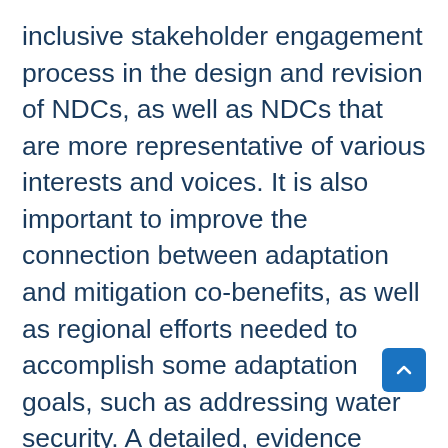inclusive stakeholder engagement process in the design and revision of NDCs, as well as NDCs that are more representative of various interests and voices. It is also important to improve the connection between adaptation and mitigation co-benefits, as well as regional efforts needed to accomplish some adaptation goals, such as addressing water security. A detailed, evidence based and thorough NDC, that includes specific sectoral mitigation and adaptation targets, is more likely to be implemented. This is also true for an NDC that is accompanied by a thorough implementation roadmap and that includes specific requests for support. An MRV strategy helps to track NDC implementation and ensure that climate targets are achieved.